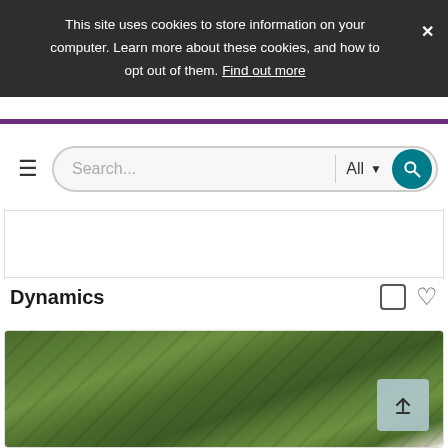This site uses cookies to store information on your computer. Learn more about these cookies, and how to opt out of them. Find out more
[Figure (screenshot): Website search bar with hamburger menu icon, search input field, All dropdown, and teal search button]
Dynamics
[Figure (photo): Close-up photo of green textured surface resembling moss or plant material, aerial or microscopic view, with scroll-to-top button overlay]